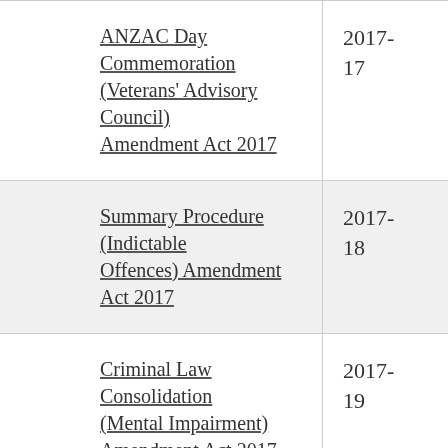| Act | Year |
| --- | --- |
| ANZAC Day Commemoration (Veterans' Advisory Council) Amendment Act 2017 | 2017-17 |
| Summary Procedure (Indictable Offences) Amendment Act 2017 | 2017-18 |
| Criminal Law Consolidation (Mental Impairment) Amendment Act 2017 | 2017-19 |
| Electoral (Miscellaneous) Amendment Act 2017 | 2017-20 |